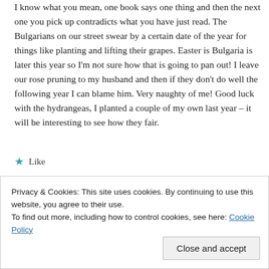I know what you mean, one book says one thing and then the next one you pick up contradicts what you have just read. The Bulgarians on our street swear by a certain date of the year for things like planting and lifting their grapes. Easter is Bulgaria is later this year so I'm not sure how that is going to pan out! I leave our rose pruning to my husband and then if they don't do well the following year I can blame him. Very naughty of me! Good luck with the hydrangeas, I planted a couple of my own last year – it will be interesting to see how they fair.
★ Like
Reply
Privacy & Cookies: This site uses cookies. By continuing to use this website, you agree to their use.
To find out more, including how to control cookies, see here: Cookie Policy